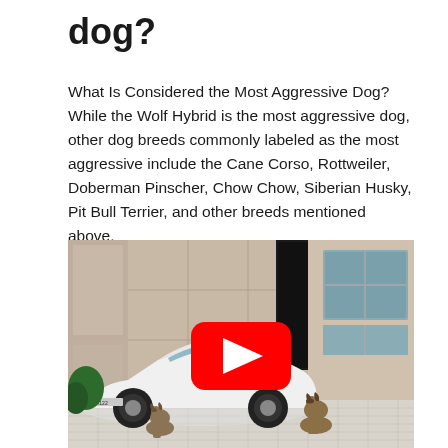dog?
What Is Considered the Most Aggressive Dog? While the Wolf Hybrid is the most aggressive dog, other dog breeds commonly labeled as the most aggressive include the Cane Corso, Rottweiler, Doberman Pinscher, Chow Chow, Siberian Husky, Pit Bull Terrier, and other breeds mentioned above.
[Figure (photo): A white Ferrari sports car parked outside a building entrance with two German Shepherd dogs sitting nearby, with a YouTube play button overlay indicating a video thumbnail.]